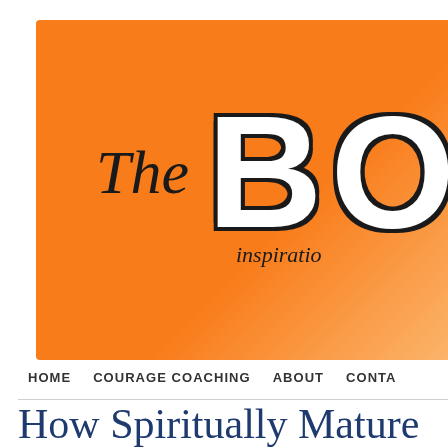[Figure (logo): Website header banner with orange gradient background showing 'The BO' text (partially cropped), with 'inspiratio' text below (partially cropped)]
HOME  COURAGE COACHING  ABOUT  CONTA
How Spiritually Mature